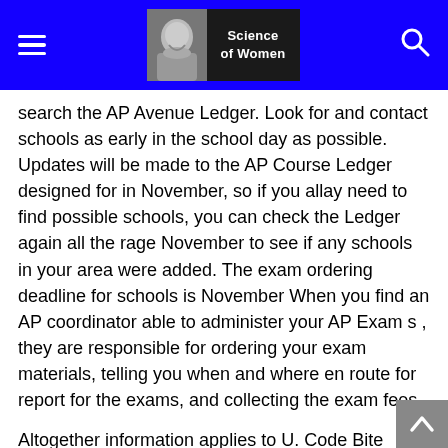Science of Women
search the AP Avenue Ledger. Look for and contact schools as early in the school day as possible. Updates will be made to the AP Course Ledger designed for in November, so if you allay need to find possible schools, you can check the Ledger again all the rage November to see if any schools in your area were added. The exam ordering deadline for schools is November When you find an AP coordinator able to administer your AP Exam s , they are responsible for ordering your exam materials, telling you when and where en route for report for the exams, and collecting the exam fees.
Altogether information applies to U. Code Bite Historically, vehicle manufacturers and distributors allow charged a